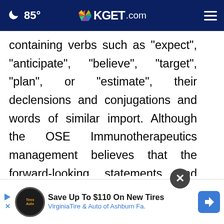85° KGET.com
containing verbs such as "expect", "anticipate", "believe", "target", "plan", or "estimate", their declensions and conjugations and words of similar import. Although the OSE Immunotherapeutics management believes that the forward-looking statements and information are reasonable, the OSE Immunotherapeutics' shareholders and other investors are cautioned that the completion of such expectations is by nature subject to various risks, which are
[Figure (screenshot): Advertisement banner: Save Up To $110 On New Tires - Virginia Tire & Auto of Ashburn Fa. with tire logo and navigation arrow icon]